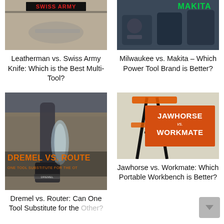[Figure (photo): Leatherman vs Swiss Army Knife product comparison image with 'SWISS ARMY' text banner]
Leatherman vs. Swiss Army Knife: Which is the Best Multi-Tool?
[Figure (photo): Milwaukee vs Makita power tools comparison image with 'MAKITA' green text logo]
Milwaukee vs. Makita – Which Power Tool Brand is Better?
[Figure (photo): Dremel vs Router comparison image with orange text 'DREMEL VS. ROUTER' and subtitle 'ONE TOOL SUBSTITUTE FOR THE OTHER']
Dremel vs. Router: Can One Tool Substitute for the Other?
[Figure (photo): Jawhorse vs Workmate portable workbench comparison image with orange banner showing 'JAWHORSE vs. WORKMATE']
Jawhorse vs. Workmate: Which Portable Workbench is Better?